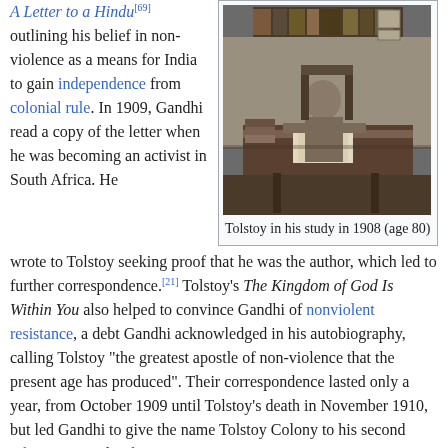A Letter to a Hindu[69] outlining his belief in non-violence as a means for India to gain independence from colonial rule. In 1909, Gandhi read a copy of the letter when he was becoming an activist in South Africa. He wrote to Tolstoy seeking proof that he was the author, which led to further correspondence.[21] Tolstoy's The Kingdom of God Is Within You also helped to convince Gandhi of nonviolent resistance, a debt Gandhi acknowledged in his autobiography, calling Tolstoy "the greatest apostle of non-violence that the present age has produced". Their correspondence lasted only a year, from October 1909 until Tolstoy's death in November 1910, but led Gandhi to give the name Tolstoy Colony to his second ashram in South Africa.
[Figure (photo): Black and white photograph of Tolstoy seated at a desk in his study, surrounded by books and furniture, taken in 1908 when he was 80 years old.]
Tolstoy in his study in 1908 (age 80)